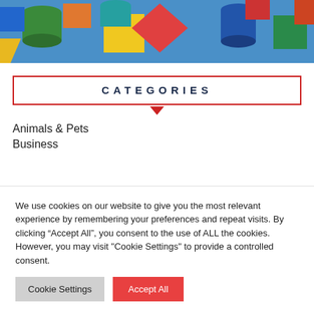[Figure (photo): Colorful plastic geometric building blocks (cubes, cylinders, diamonds) in various colors including red, yellow, blue, green, and orange, filling the frame]
CATEGORIES
Animals & Pets
Business
We use cookies on our website to give you the most relevant experience by remembering your preferences and repeat visits. By clicking “Accept All”, you consent to the use of ALL the cookies. However, you may visit "Cookie Settings" to provide a controlled consent.
Cookie Settings | Accept All